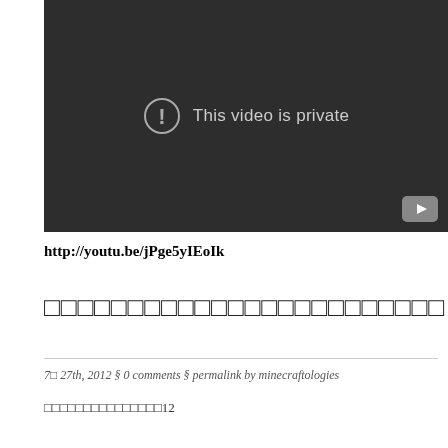[Figure (screenshot): YouTube video embed showing 'This video is private' error message on dark background with YouTube play button icon in bottom right]
http://youtu.be/jPge5yIEoIk
□□□□□□□□□□□□□□□□□□□□□□□□
7□ 27th, 2012 § 0 comments § permalink by minecraftologies
□□□□□□□□□□□□□□□12